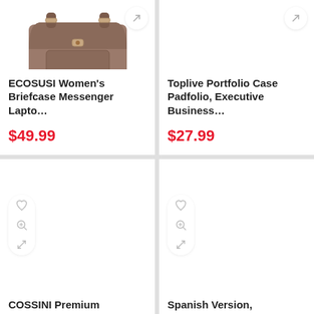[Figure (photo): ECOSUSI Women's Briefcase Messenger Laptop bag product image, brown leather satchel]
ECOSUSI Women's Briefcase Messenger Lapto…
$49.99
[Figure (photo): Toplive Portfolio Case Padfolio Executive Business product image (empty area shown)]
Toplive Portfolio Case Padfolio, Executive Business…
$27.99
[Figure (photo): COSSINI Premium product with action icons (heart, zoom, compare) visible]
COSSINI Premium
[Figure (photo): Spanish Version product with action icons (heart, zoom, compare) visible]
Spanish Version,